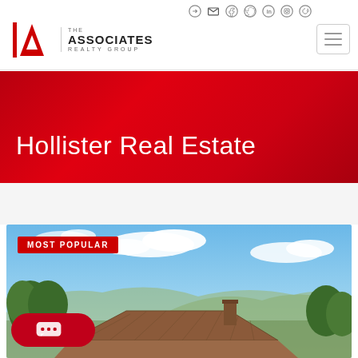[Figure (logo): The Associates Realty Group logo with red triangle/A symbol and company name]
[Figure (screenshot): Top navigation bar with social media icons: sign-in arrow, email, Facebook, Twitter, LinkedIn, Instagram, Pinterest]
[Figure (other): Hamburger menu button (three horizontal lines in a bordered box)]
Hollister Real Estate
[Figure (photo): Real estate property photo showing a Spanish-style tiled roof home with trees, mountains and blue sky with clouds in Hollister]
MOST POPULAR
[Figure (other): Red chat bubble button with three dots indicating a chat widget]